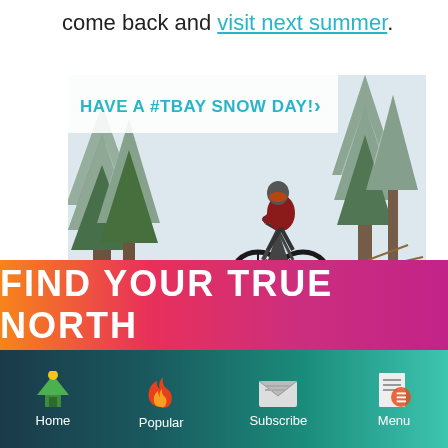come back and visit next summer.
[Figure (photo): A mountain biker riding a fat tire bike through a snowy forest trail, wearing a red jacket and helmet. A white banner overlay reads 'HAVE A #TBAY SNOW DAY! >']
FIND YOUR TRUE NORTH
Home   Popular   Subscribe   Menu